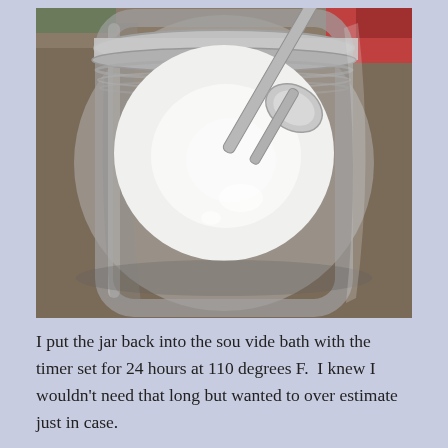[Figure (photo): Overhead view of a glass mason jar filled with white liquid (milk or yogurt mixture), with a metal spoon resting inside the jar. The jar appears to be sitting on a surface with colorful items visible in the background.]
I put the jar back into the sou vide bath with the timer set for 24 hours at 110 degrees F.  I knew I wouldn't need that long but wanted to over estimate just in case.